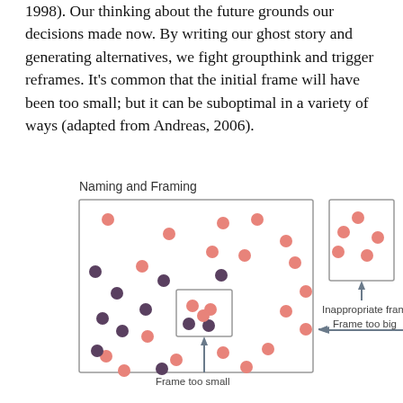1998). Our thinking about the future grounds our decisions made now. By writing our ghost story and generating alternatives, we fight groupthink and trigger reframes. It's common that the initial frame will have been too small; but it can be suboptimal in a variety of ways (adapted from Andreas, 2006).
[Figure (illustration): Diagram titled 'Naming and Framing' showing a large rectangle (Frame too big) containing many salmon/pink and dark purple dots scattered across it, with a small inner rectangle containing a few dots labeled 'Frame too small'. To the right, a separate small rectangle with a few salmon dots labeled 'Inappropriate frame'. Arrows point to each frame type with labels.]